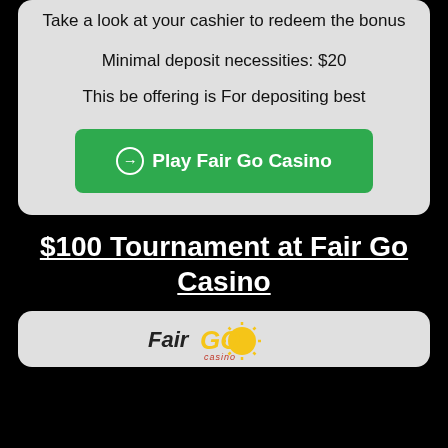Take a look at your cashier to redeem the bonus
Minimal deposit necessities: $20
This be offering is For depositing best
⊕ Play Fair Go Casino
$100 Tournament at Fair Go Casino
[Figure (logo): Fair Go Casino logo with stylized text and sun graphic]